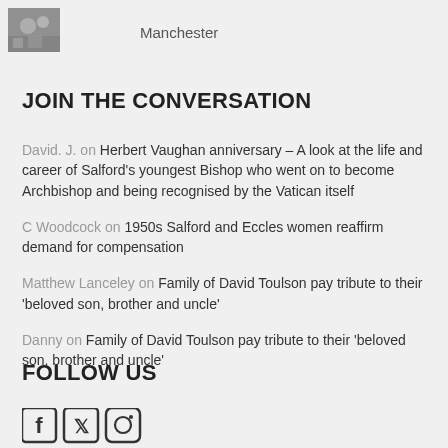[Figure (photo): Small thumbnail photo of a crowd scene]
Manchester
JOIN THE CONVERSATION
David. J. on Herbert Vaughan anniversary – A look at the life and career of Salford's youngest Bishop who went on to become Archbishop and being recognised by the Vatican itself
C Woodcock on 1950s Salford and Eccles women reaffirm demand for compensation
Matthew Lanceley on Family of David Toulson pay tribute to their 'beloved son, brother and uncle'
Danny on Family of David Toulson pay tribute to their 'beloved son, brother and uncle'
FOLLOW US
[Figure (illustration): Social media icons: Facebook, Twitter, Instagram]